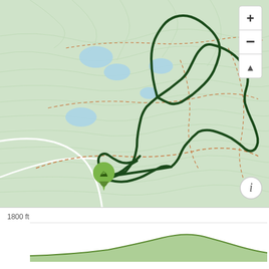[Figure (map): Topographic trail map showing a hiking route in green over a light green contour map background. The route forms a large loop starting from a green map pin marker in the lower-left area. Blue water bodies (ponds/lakes) are visible in the upper-left portion. Dashed orange lines indicate other trails. White lines indicate roads. Map controls (zoom in/out, compass) are in top-right corner. An info button is in the bottom-right corner.]
[Figure (area-chart): Elevation profile chart showing terrain elevation approximately 1800 ft, with a hill-shaped elevation profile visible at the bottom of the page.]